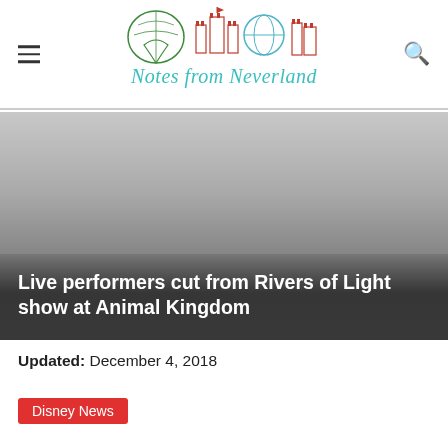Notes from Neverland
[Figure (photo): Gray gradient hero image with dark overlay at bottom containing article headline]
Live performers cut from Rivers of Light show at Animal Kingdom
Updated: December 4, 2018
Disney News